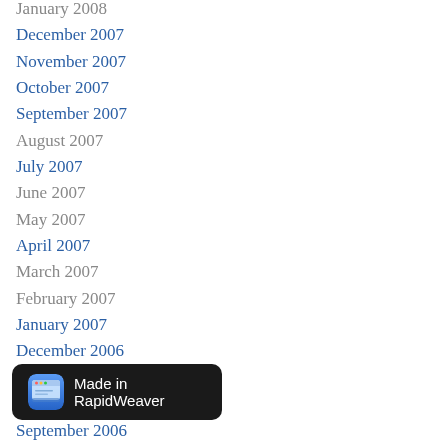January 2008
December 2007
November 2007
October 2007
September 2007
August 2007
July 2007
June 2007
May 2007
April 2007
March 2007
February 2007
January 2007
December 2006
November 2006
October 2006
September 2006
[Figure (screenshot): Made in RapidWeaver tooltip overlay with app icon]